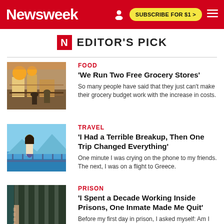Newsweek | SUBSCRIBE FOR $1 >
EDITOR'S PICK
FOOD | 'We Run Two Free Grocery Stores' | So many people have said that they just can't make their grocery budget work with the increase in costs.
TRAVEL | 'I Had a Terrible Breakup, Then One Trip Changed Everything' | One minute I was crying on the phone to my friends. The next, I was on a flight to Greece.
PRISON | 'I Spent a Decade Working Inside Prisons, One Inmate Made Me Quit' | Before my first day in prison, I asked myself: Am I